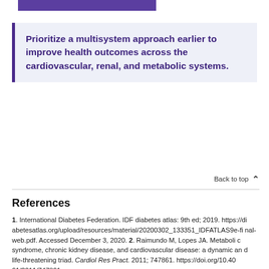[Figure (other): Purple decorative bar at top of page]
Prioritize a multisystem approach earlier to improve health outcomes across the cardiovascular, renal, and metabolic systems.
Back to top
References
1. International Diabetes Federation. IDF diabetes atlas: 9th ed; 2019. https://diabetesatlas.org/upload/resources/material/20200302_133351_IDFATLAS9e-final-web.pdf. Accessed December 3, 2020. 2. Raimundo M, Lopes JA. Metabolic syndrome, chronic kidney disease, and cardiovascular disease: a dynamic and life-threatening triad. Cardiol Res Pract. 2011; 747861. https://doi.org/10.4061/2011/747861.